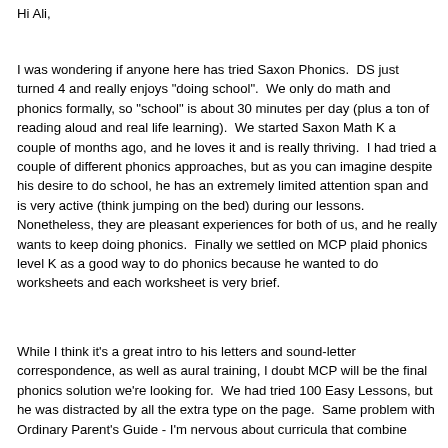Hi Ali,
I was wondering if anyone here has tried Saxon Phonics.  DS just turned 4 and really enjoys "doing school".  We only do math and phonics formally, so "school" is about 30 minutes per day (plus a ton of reading aloud and real life learning).  We started Saxon Math K a couple of months ago, and he loves it and is really thriving.  I had tried a couple of different phonics approaches, but as you can imagine despite his desire to do school, he has an extremely limited attention span and is very active (think jumping on the bed) during our lessons.  Nonetheless, they are pleasant experiences for both of us, and he really wants to keep doing phonics.  Finally we settled on MCP plaid phonics level K as a good way to do phonics because he wanted to do worksheets and each worksheet is very brief.
While I think it's a great intro to his letters and sound-letter correspondence, as well as aural training, I doubt MCP will be the final phonics solution we're looking for.  We had tried 100 Easy Lessons, but he was distracted by all the extra type on the page.  Same problem with Ordinary Parent's Guide - I'm nervous about curricula that combine